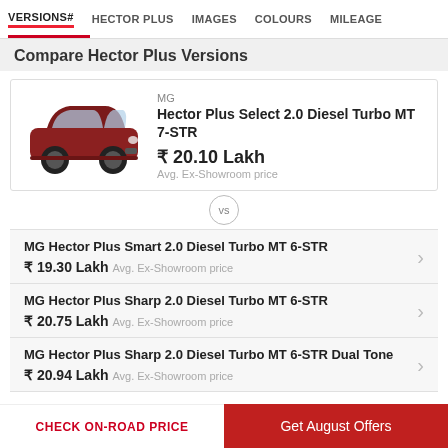VERSIONS# | HECTOR PLUS | IMAGES | COLOURS | MILEAGE
Compare Hector Plus Versions
[Figure (photo): MG Hector Plus Select 2.0 Diesel Turbo MT 7-STR car image, dark red/maroon SUV, side-front view]
MG
Hector Plus Select 2.0 Diesel Turbo MT 7-STR
₹ 20.10 Lakh
Avg. Ex-Showroom price
vs
MG Hector Plus Smart 2.0 Diesel Turbo MT 6-STR
₹ 19.30 Lakh  Avg. Ex-Showroom price
MG Hector Plus Sharp 2.0 Diesel Turbo MT 6-STR
₹ 20.75 Lakh  Avg. Ex-Showroom price
MG Hector Plus Sharp 2.0 Diesel Turbo MT 6-STR Dual Tone
₹ 20.94 Lakh  Avg. Ex-Showroom price
CHECK ON-ROAD PRICE | Get August Offers